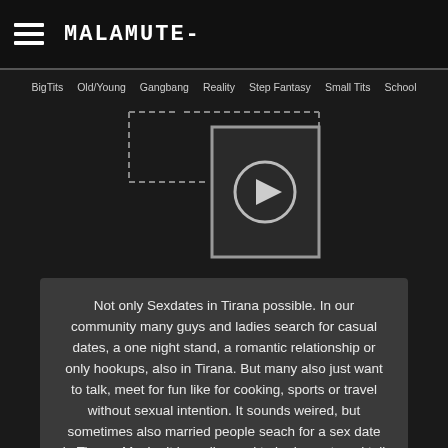MALAMUTE-
BigTits  Old/Young  Gangbang  Reality  Step Fantasy  Small Tits  School
[Figure (other): Video player placeholder with dashed border outline and centered play button (circle with triangle)]
Not only Sexdates in Tirana possible. In our community many guys and ladies search for casual dates, a one night stand, a romantic relationship or only hookups, also in Tirana. But many also just want to talk, meet for fun like for cooking, sports or travel without sexual intention. It sounds weired, but sometimes also married people seach for a sex date in Tirana. Maybe it is really good to be honest, and tell this in the beginning.